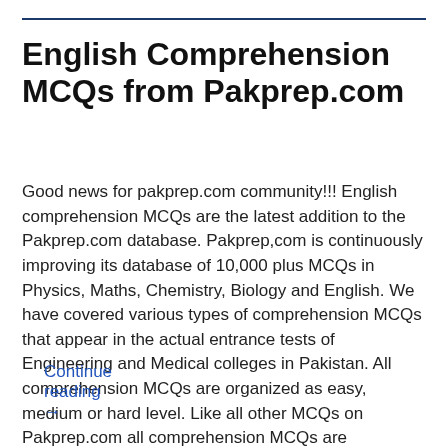English Comprehension MCQs from Pakprep.com
Good news for pakprep.com community!!! English comprehension MCQs are the latest addition to the Pakprep.com database. Pakprep,com is continuously improving its database of 10,000 plus MCQs in Physics, Maths, Chemistry, Biology and English. We have covered various types of comprehension MCQs that appear in the actual entrance tests of Engineering and Medical colleges in Pakistan. All comprehension MCQs are organized as easy, medium or hard level. Like all other MCQs on Pakprep.com all comprehension MCQs are explained. Register Today for Free!!!
Continue reading →